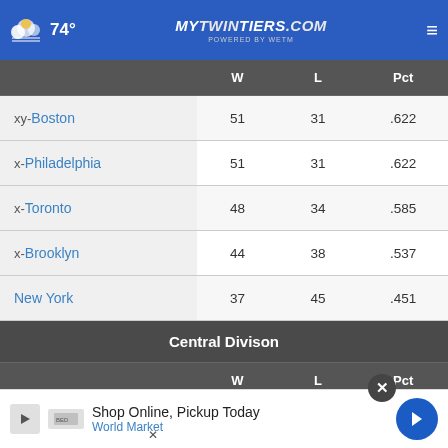74° mytwintiers.com
|  | W | L | Pct |
| --- | --- | --- | --- |
| xy-Boston | 51 | 31 | .622 |
| x-Philadelphia | 51 | 31 | .622 |
| x-Toronto | 48 | 34 | .585 |
| x-Brooklyn | 44 | 38 | .537 |
| New York | 37 | 45 | .451 |
| Central Divison |  |  |  |
|  | W | L | Pct |
| xy-Milw... |  |  |  |
| x-Chicago | 46 | 36 | .561 |
Shop Online, Pickup Today World Market